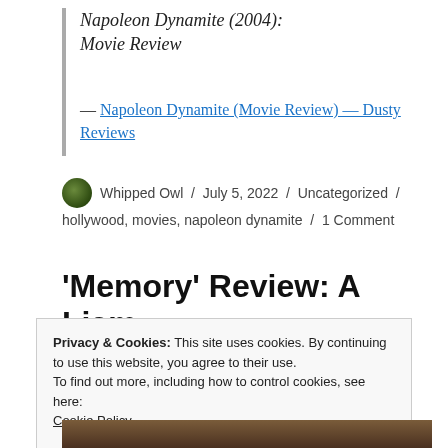Napoleon Dynamite (2004): Movie Review
— Napoleon Dynamite (Movie Review) — Dusty Reviews
Whipped Owl / July 5, 2022 / Uncategorized / hollywood, movies, napoleon dynamite / 1 Comment
'Memory' Review: A Liam
Privacy & Cookies: This site uses cookies. By continuing to use this website, you agree to their use.
To find out more, including how to control cookies, see here: Cookie Policy
Close and accept